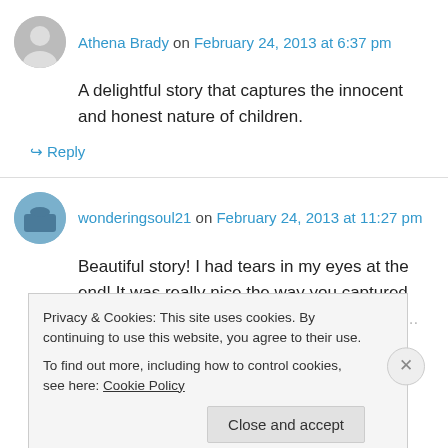Athena Brady on February 24, 2013 at 6:37 pm
A delightful story that captures the innocent and honest nature of children.
↪ Reply
wonderingsoul21 on February 24, 2013 at 11:27 pm
Beautiful story! I had tears in my eyes at the end! It was really nice the way you captured the innocent...
Privacy & Cookies: This site uses cookies. By continuing to use this website, you agree to their use. To find out more, including how to control cookies, see here: Cookie Policy
Close and accept